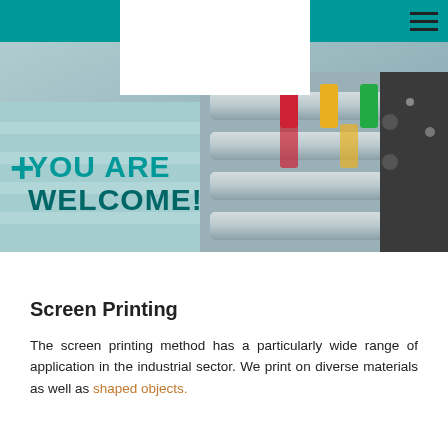[Figure (photo): Hero banner with printing machine rollers and color-coded clamps in the background. Teal top navigation bar with white logo box centered and hamburger menu on the right.]
YOU ARE WELCOME!
Screen Printing
The screen printing method has a particularly wide range of application in the industrial sector. We print on diverse materials as well as shaped objects.